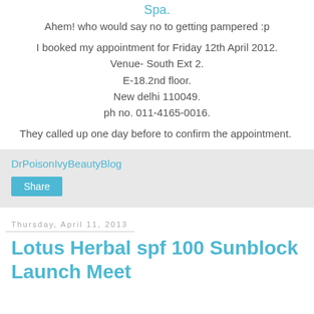Spa.
Ahem! who would say no to getting pampered :p
I booked my appointment for Friday 12th April 2012.
Venue- South Ext 2.
E-18.2nd floor.
New delhi 110049.
ph no. 011-4165-0016.
They called up one day before to confirm the appointment.
DrPoisonIvyBeautyBlog
Share
Thursday, April 11, 2013
Lotus Herbal spf 100 Sunblock Launch Meet